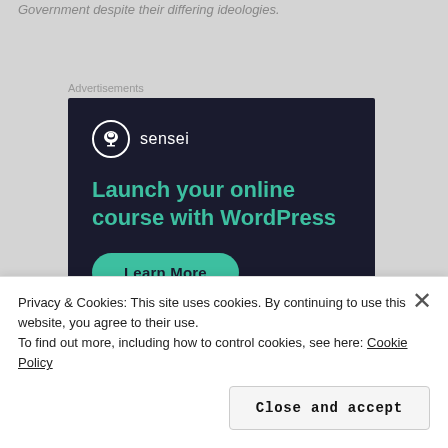Government despite their differing ideologies.
Advertisements
[Figure (screenshot): Sensei advertisement banner with dark background (#1a1b2e). Shows Sensei logo (bonsai tree in white circle) and brand name 'sensei', headline 'Launch your online course with WordPress' in teal/green color, and a teal 'Learn More' rounded button.]
Privacy & Cookies: This site uses cookies. By continuing to use this website, you agree to their use.
To find out more, including how to control cookies, see here: Cookie Policy